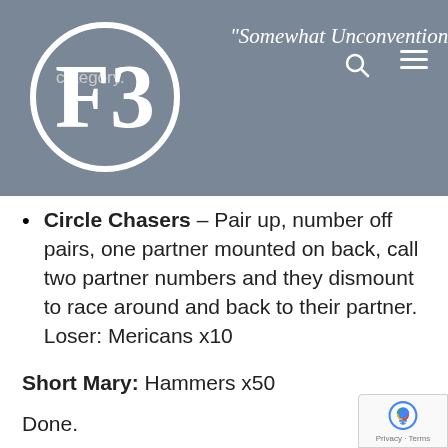"Somewhat Unconventional"
Circle Chasers – Pair up, number off pairs, one partner mounted on back, call two partner numbers and they dismount to race around and back to their partner. Loser: Mericans x10
Short Mary: Hammers x50
Done.
Announcements:
Big thanks to the PAX responsible for throwing our highly successful F3 Christmas Party this past Thursday night. Good times